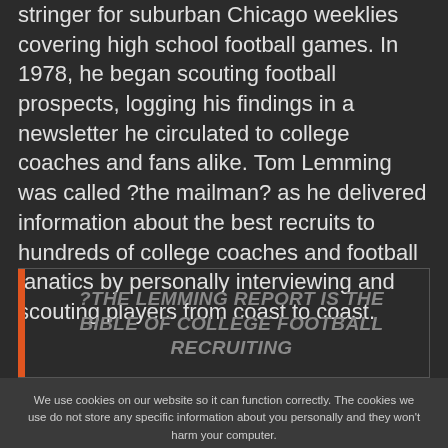stringer for suburban Chicago weeklies covering high school football games. In 1978, he began scouting football prospects, logging his findings in a newsletter he circulated to college coaches and fans alike. Tom Lemming was called ?the mailman? as he delivered information about the best recruits to hundreds of college coaches and football fanatics by personally interviewing and scouting players from coast to coast.
?THE LEMMING REPORT IS THE BIBLE OF COLLEGE FOOTBALL RECRUITING
We use cookies on our website so it can function correctly. The cookies we use do not store any specific information about you personally and they won't harm your computer. See our privacy policy for more information.
Accept